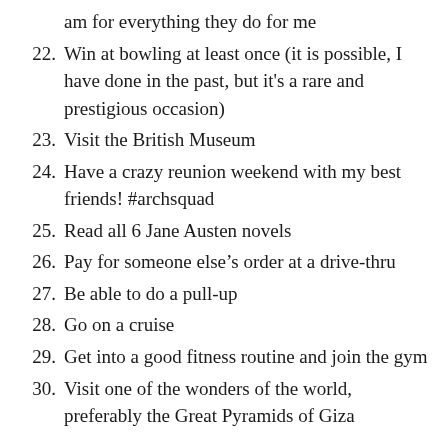am for everything they do for me
22. Win at bowling at least once (it is possible, I have done in the past, but it's a rare and prestigious occasion)
23. Visit the British Museum
24. Have a crazy reunion weekend with my best friends! #archsquad
25. Read all 6 Jane Austen novels
26. Pay for someone else's order at a drive-thru
27. Be able to do a pull-up
28. Go on a cruise
29. Get into a good fitness routine and join the gym
30. Visit one of the wonders of the world, preferably the Great Pyramids of Giza
Ta-da! All done. I really hope these are realistic, although I can only imagine a couple of these being